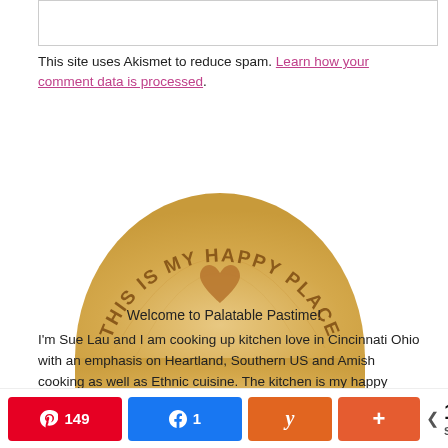[Figure (other): White input/text box at top of page (comment form field)]
This site uses Akismet to reduce spam. Learn how your comment data is processed.
[Figure (photo): Wooden semicircle sign reading 'THIS IS MY HAPPY PLACE' in an arc with a heart cutout in the center]
Welcome to Palatable Pastime!
I'm Sue Lau and I am cooking up kitchen love in Cincinnati Ohio with an emphasis on Heartland, Southern US and Amish cooking as well as Ethnic cuisine. The kitchen is my happy place, where I find joy in creating delicious recipes for my friends, family, and my readers here. Join me
[Figure (infographic): Social share bar with Pinterest (149), Facebook (1), Yummly, and share+ buttons, showing 150 total SHARES]